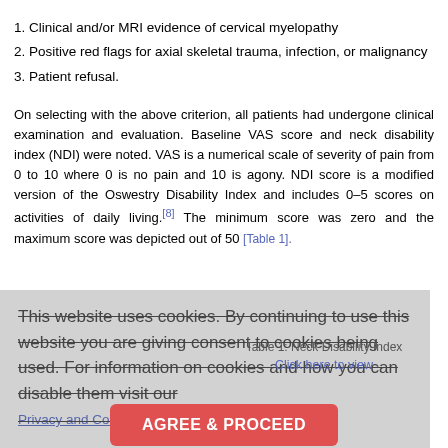1. Clinical and/or MRI evidence of cervical myelopathy
2. Positive red flags for axial skeletal trauma, infection, or malignancy
3. Patient refusal.
On selecting with the above criterion, all patients had undergone clinical examination and evaluation. Baseline VAS score and neck disability index (NDI) were noted. VAS is a numerical scale of severity of pain from 0 to 10 where 0 is no pain and 10 is agony. NDI score is a modified version of the Oswestry Disability Index and includes 0–5 scores on activities of daily living.[8] The minimum score was zero and the maximum score was depicted out of 50 [Table 1].
This website uses cookies. By continuing to use this website you are giving consent to cookies being used. For information on cookies and how you can disable them visit our Privacy and Cookie Policy.
Table 1: Neck Disability Index
Click here to view
AGREE & PROCEED
Clinical profile: There were 324 cervical disc herniations treated in 246 patients. The distributions were C5 – 6:178, C6 – 7:83, C4 – 5:55, and C3 – 4:08, as seen on p Two hundred forty patients had neck pain with radiculopathy. These patients had